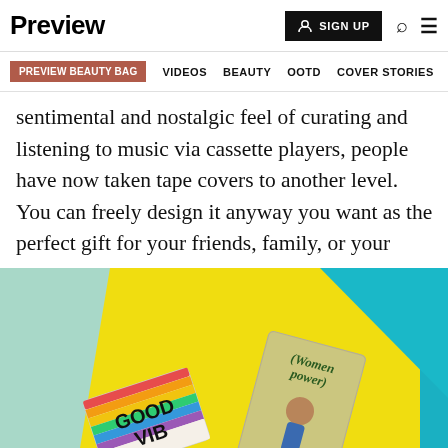Preview | SIGN UP
PREVIEW BEAUTY BAG  VIDEOS  BEAUTY  OOTD  COVER STORIES
sentimental and nostalgic feel of curating and listening to music via cassette players, people have now taken tape covers to another level. You can freely design it anyway you want as the perfect gift for your friends, family, or your special someone.
[Figure (photo): Photo of two custom cassette tape cases on a colorful background (mint green, yellow, teal). One tape reads 'GOOD VIBES' with rainbow stripes, the other reads 'Women Power' with a retro illustration.]